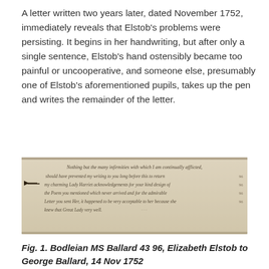A letter written two years later, dated November 1752, immediately reveals that Elstob's problems were persisting. It begins in her handwriting, but after only a single sentence, Elstob's hand ostensibly became too painful or uncooperative, and someone else, presumably one of Elstob's aforementioned pupils, takes up the pen and writes the remainder of the letter.
[Figure (photo): A photograph of a handwritten manuscript page, Bodleian MS Ballard 43 96. The manuscript shows cursive handwriting in ink on aged paper, with text beginning 'Nothing but the many infirmities with which I am continually afflicted, should have prevented my writing to you long before this to return my charming Lady Harriet acknowledgements for your kind design of the Poem you mentioned which never arrived and for the admirable Letter you sent Her, it happened to be very acceptable to her because she knew that Great Lady very well.']
Fig. 1. Bodleian MS Ballard 43 96, Elizabeth Elstob to George Ballard, 14 Nov 1752